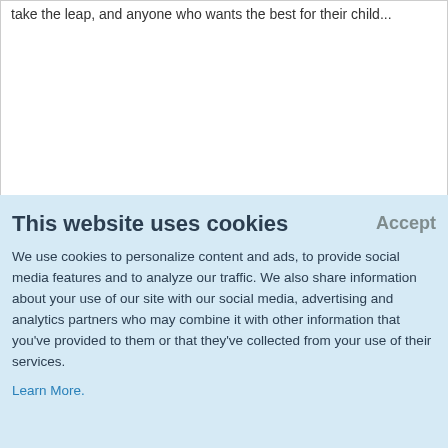take the leap, and anyone who wants the best for their child...
This website uses cookies

We use cookies to personalize content and ads, to provide social media features and to analyze our traffic. We also share information about your use of our site with our social media, advertising and analytics partners who may combine it with other information that you've provided to them or that they've collected from your use of their services.
Learn More.
before deciding to homeschool. A private tour of